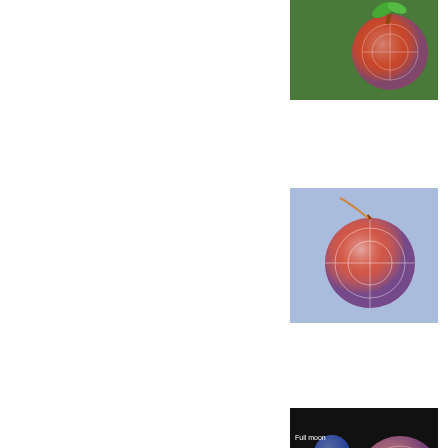[Figure (photo): Colorful glass orb pendant with geometric pattern, green background, top right thumbnail]
[Figure (photo): Colorful glass orb pendant with geometric pattern, blue/purple background, second thumbnail]
[Figure (photo): Dark background infographic showing glass orbs of different sizes with labels, third thumbnail]
[Figure (photo): Colorful glass orb pendant with geometric pattern, blue/purple background, fourth thumbnail]
[Figure (photo): Glass orb pendant held in hand showing red and multicolor pattern, fifth thumbnail]
[Figure (photo): Dark background image partially visible, sixth thumbnail at bottom]